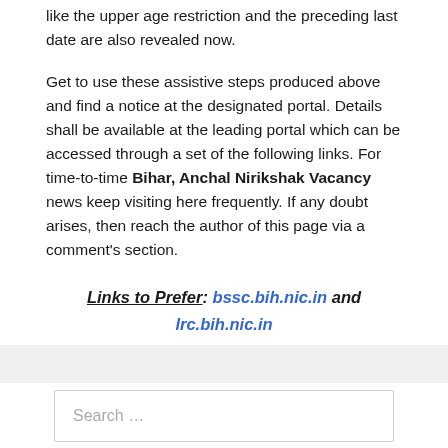like the upper age restriction and the preceding last date are also revealed now.
Get to use these assistive steps produced above and find a notice at the designated portal. Details shall be available at the leading portal which can be accessed through a set of the following links. For time-to-time Bihar, Anchal Nirikshak Vacancy news keep visiting here frequently. If any doubt arises, then reach the author of this page via a comment's section.
Links to Prefer: bssc.bih.nic.in and lrc.bih.nic.in